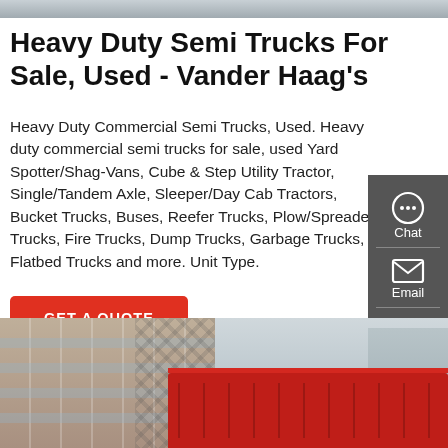[Figure (photo): Partial top strip of an image, cropped at top of page]
Heavy Duty Semi Trucks For Sale, Used - Vander Haag's
Heavy Duty Commercial Semi Trucks, Used. Heavy duty commercial semi trucks for sale, used Yard Spotter/Shag-Vans, Cube & Step Utility Tractor, Single/Tandem Axle, Sleeper/Day Cab Tractors, Bucket Trucks, Buses, Reefer Trucks, Plow/Spreader Trucks, Fire Trucks, Dump Trucks, Garbage Trucks, Flatbed Trucks and more. Unit Type.
[Figure (other): Red GET A QUOTE button]
[Figure (infographic): Dark sidebar with Chat, Email, Contact icons and labels]
[Figure (photo): Bottom photo showing a building facade and a red truck]